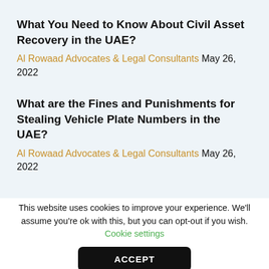What You Need to Know About Civil Asset Recovery in the UAE?
Al Rowaad Advocates & Legal Consultants May 26, 2022
What are the Fines and Punishments for Stealing Vehicle Plate Numbers in the UAE?
Al Rowaad Advocates & Legal Consultants May 26, 2022
This website uses cookies to improve your experience. We'll assume you're ok with this, but you can opt-out if you wish. Cookie settings
ACCEPT